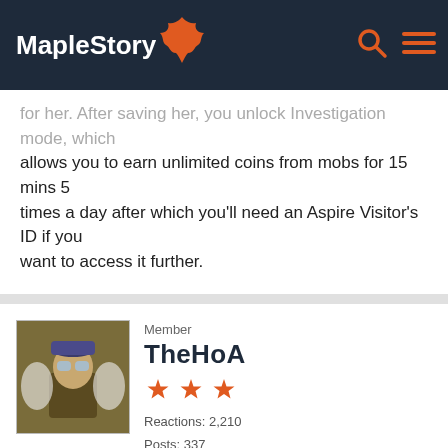MapleStory
for her. After saving her, you unlock Investigation mode, which allows you to earn unlimited coins from mobs for 15 mins 5 times a day after which you'll need an Aspire Visitor's ID if you want to access it further.
Member
TheHoA
Reactions: 2,210
Posts: 337
JUNE 2017   EDITED JUNE 2017
btw for the check in (incase you haven't check the wonderoid page) you only have to attempt and die.